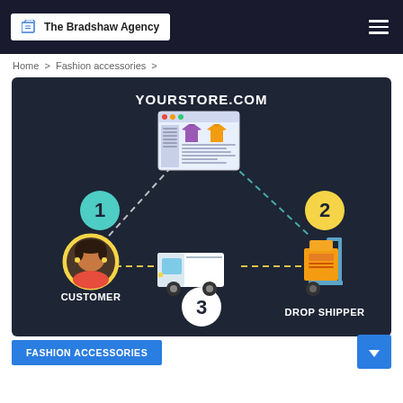The Bradshaw Agency
Home > Fashion accessories >
[Figure (infographic): Dropshipping process infographic on dark background. Shows three nodes connected by dashed lines: 1 (teal circle, top-left area) connecting CUSTOMER (avatar with yellow circle border, bottom-left) to YOURSTORE.COM (website illustration, top-center), 2 (yellow circle, top-right) connecting YOURSTORE.COM to DROP SHIPPER (boxes on hand truck, bottom-right), and 3 (white circle, bottom-center) connecting DROP SHIPPER back to CUSTOMER via a delivery van in the center. Labels: YOURSTORE.COM at top, CUSTOMER at bottom-left, DROP SHIPPER at bottom-right.]
FASHION ACCESSORIES